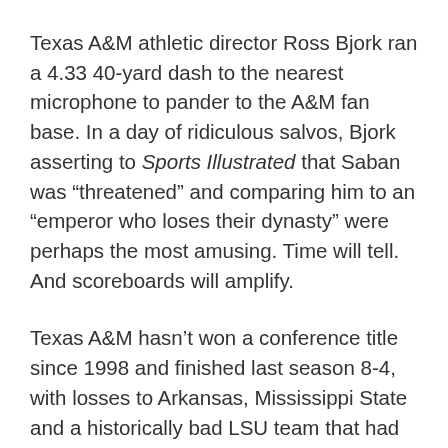Texas A&M athletic director Ross Bjork ran a 4.33 40-yard dash to the nearest microphone to pander to the A&M fan base. In a day of ridiculous salvos, Bjork asserting to Sports Illustrated that Saban was “threatened” and comparing him to an “emperor who loses their dynasty” were perhaps the most amusing. Time will tell. And scoreboards will amplify.
Texas A&M hasn’t won a conference title since 1998 and finished last season 8-4, with losses to Arkansas, Mississippi State and a historically bad LSU team that had already fired their coach. They did beat Alabama, which is where some of the institutional chestiness comes from. But Texas A&M should probably reach the SEC championship game at some point, which it has failed to do since joining the league in 2012, before chirping with all the empire-toppling chatter.